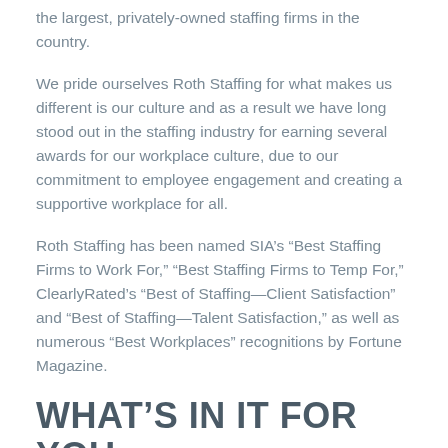the largest, privately-owned staffing firms in the country.
We pride ourselves Roth Staffing for what makes us different is our culture and as a result we have long stood out in the staffing industry for earning several awards for our workplace culture, due to our commitment to employee engagement and creating a supportive workplace for all.
Roth Staffing has been named SIA’s “Best Staffing Firms to Work For,” “Best Staffing Firms to Temp For,” ClearlyRated’s “Best of Staffing—Client Satisfaction” and “Best of Staffing—Talent Satisfaction,” as well as numerous “Best Workplaces” recognitions by Fortune Magazine.
WHAT’S IN IT FOR YOU:
Working for a company that’s committed to being the ultimate in employee satisfaction, Roth Staffing coworkers have access to: